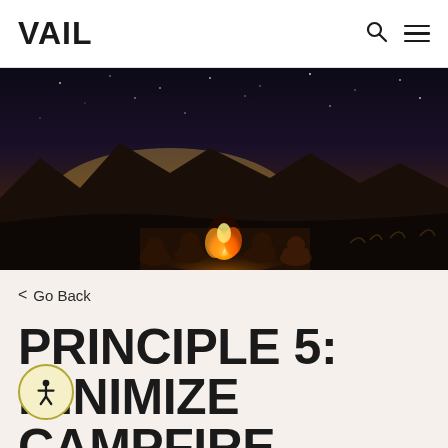VAIL
[Figure (photo): Group of people sitting around a campfire at night under a starry sky with mountain silhouettes in the background, warm orange glow from the fire]
< Go Back
PRINCIPLE 5: MINIMIZE CAMPFIRE IMPACTS